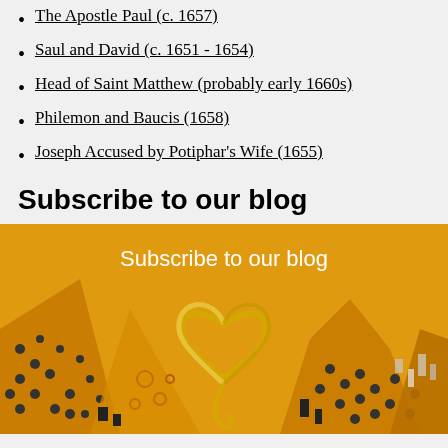The Apostle Paul (c. 1657)
Saul and David (c. 1651 - 1654)
Head of Saint Matthew (probably early 1660s)
Philemon and Baucis (1658)
Joseph Accused by Potiphar's Wife (1655)
Subscribe to our blog
[Figure (illustration): Decorative orange/golden blog subscription banner with Klimt-inspired artwork showing stylized figures with patterns and a gold heart shape in the center, with text 'Subscribe to our blog' at top.]